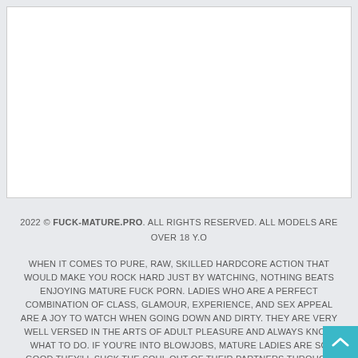[Figure (photo): White empty image area with light border, representing a placeholder for a photo/video thumbnail]
2022 © FUCK-MATURE.PRO. ALL RIGHTS RESERVED. ALL MODELS ARE OVER 18 Y.O
WHEN IT COMES TO PURE, RAW, SKILLED HARDCORE ACTION THAT WOULD MAKE YOU ROCK HARD JUST BY WATCHING, NOTHING BEATS ENJOYING MATURE FUCK PORN. LADIES WHO ARE A PERFECT COMBINATION OF CLASS, GLAMOUR, EXPERIENCE, AND SEX APPEAL ARE A JOY TO WATCH WHEN GOING DOWN AND DIRTY. THEY ARE VERY WELL VERSED IN THE ARTS OF ADULT PLEASURE AND ALWAYS KNOW WHAT TO DO. IF YOU'RE INTO BLOWJOBS, MATURE LADIES ARE SO GOOD THEY'LL SUCK THE SOUL OUT OF THEIR PARTNERS THROUGH THE RAGING BONERS. ON THE OTHER HAND, THOSE WHO PREFER A MORE DIRE...